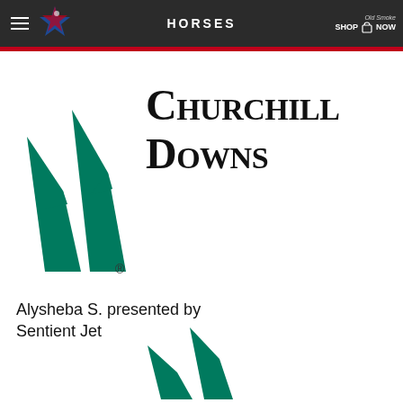HORSES
[Figure (logo): Churchill Downs logo with twin spires symbol in green and company name in large serif font]
Alysheba S. presented by Sentient Jet
[Figure (logo): Partial Churchill Downs twin spires logo at bottom of page]